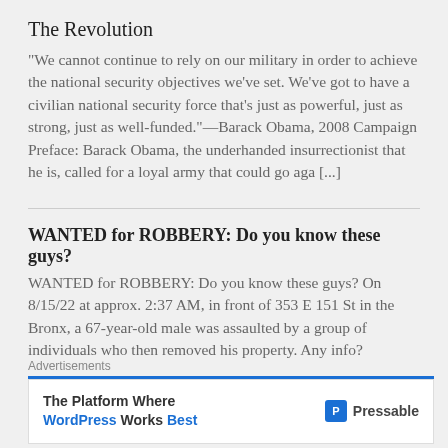The Revolution
"We cannot continue to rely on our military in order to achieve the national security objectives we've set. We've got to have a civilian national security force that's just as powerful, just as strong, just as well-funded."—Barack Obama, 2008 Campaign Preface: Barack Obama, the underhanded insurrectionist that he is, called for a loyal army that could go aga [...]
WANTED for ROBBERY: Do you know these guys?
WANTED for ROBBERY: Do you know these guys? On 8/15/22 at approx. 2:37 AM, in front of 353 E 151 St in the Bronx, a 67-year-old male was assaulted by a group of individuals who then removed his property. Any info?
Advertisements
The Platform Where WordPress Works Best — Pressable